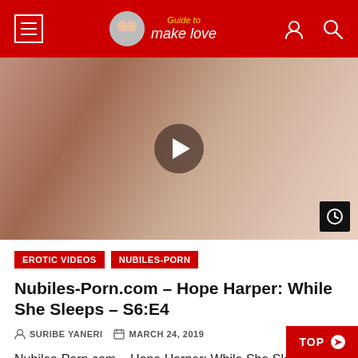Guide to make love
[Figure (photo): Video thumbnail showing adult content with a play button overlay and a clock/timer icon badge in the bottom right corner]
EROTIC VIDEOS  NUBILES-PORN
Nubiles-Porn.com – Hope Harper: While She Sleeps – S6:E4
SURIBE YANERI  MARCH 24, 2019
Nubiles-Porn.com – Hope Harper: While She Sleeps – S6:E4 MOVIE INFO: After enjoyin threesome with Luna Luxx that last...